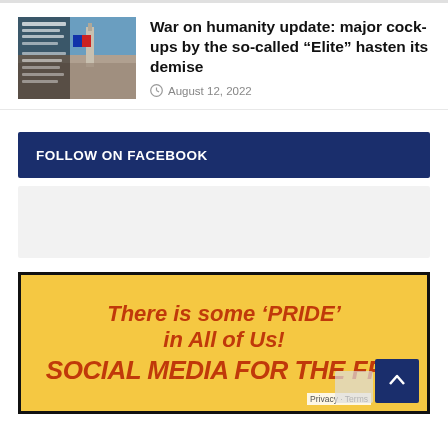[Figure (photo): Thumbnail image showing a crowd protest with Big Ben visible in background and overlay text about war on humanity]
War on humanity update: major cock-ups by the so-called “Elite” hasten its demise
August 12, 2022
FOLLOW ON FACEBOOK
[Figure (screenshot): Facebook widget placeholder area (light grey box)]
[Figure (illustration): Yellow poster with red bold italic text: There is some 'PRIDE' in All of Us! SOCIAL MEDIA FOR THE FRE... (cropped)]